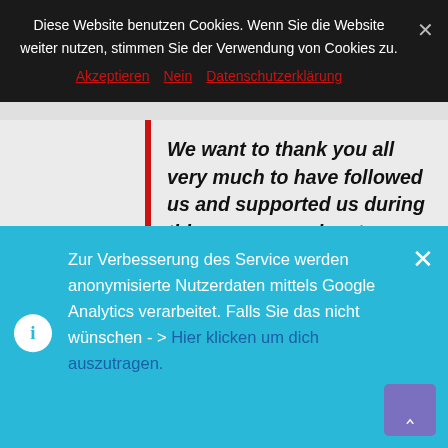Diese Website benutzen Cookies. Wenn Sie die Website weiter nutzen, stimmen Sie der Verwendung von Cookies zu.
Akzeptieren  Nein  Datenschutzerklärung
We want to thank you all very much to have followed us and supported us during this awesome adventure.
You can check directly the latest news on our BLOG.
Zur Verbesserung des Service werden anonymisierte Nutzerdaten mittels Google Analytics verarbeitet. Falls Sie das nicht wünschen - > Hier klicken um dich auszutragen.